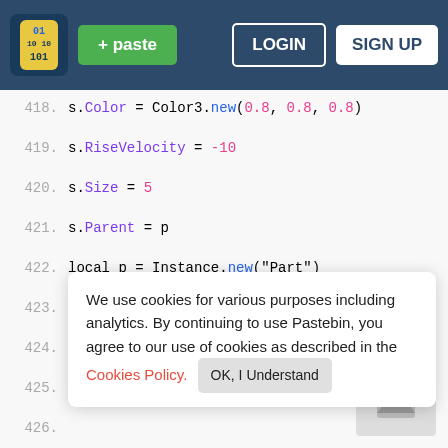[Figure (screenshot): Pastebin website header navigation bar with logo, green paste button, LOGIN and SIGN UP buttons on dark blue background]
418.    s.Color = Color3.new(0.8, 0.8, 0.8)
419.    s.RiseVelocity = -10
420.    s.Size = 5
421.    s.Parent = p
422.    local p = Instance.new("Part")
We use cookies for various purposes including analytics. By continuing to use Pastebin, you agree to our use of cookies as described in the Cookies Policy. OK, I Understand
Not a member of Pastebin yet? Sign Up, it unlocks many cool features!
430.    local w = Instance.new("Weld")
431.    w.Part0 = p
432.    w.Part1 = pm
433.    w.C0 = CFrame.new(0, 0.26, 0)
434.    w.C1 = CFrame.new()